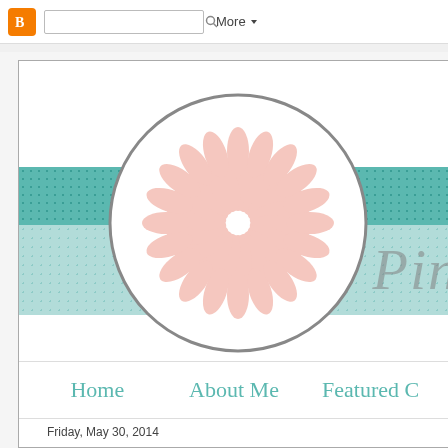Blogger navigation bar with search and More menu
[Figure (illustration): Blog header with circular flower logo (pink petals on white background with gray circle border), teal dotted band and mint dotted band across the header, and partial cursive script text 'Pin...' in gray]
Home   About Me   Featured C
Friday, May 30, 2014